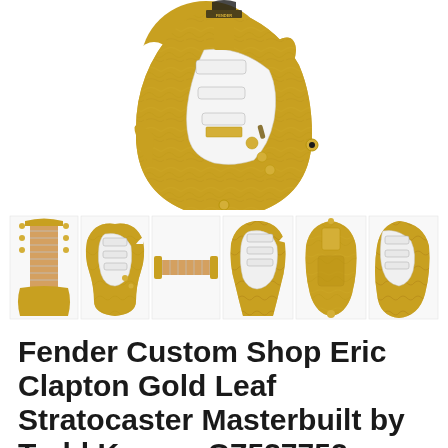[Figure (photo): Top-down view of a gold leaf Fender Stratocaster electric guitar with ornate gold leaf finish on the body, white pickguard visible, gold hardware, photographed against white background]
[Figure (photo): Strip of 6 thumbnail photos showing different angles of the Fender Custom Shop Eric Clapton Gold Leaf Stratocaster: headstock/neck, front body, neck detail, angled front, back body, angled back]
Fender Custom Shop Eric Clapton Gold Leaf Stratocaster Masterbuilt by Todd Krause CZ537752
$8,100.00